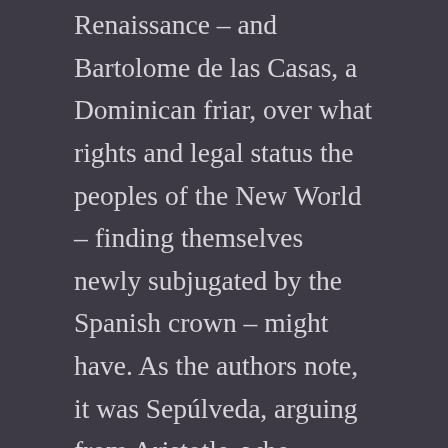Renaissance – and Bartolome de las Casas, a Dominican friar, over what rights and legal status the peoples of the New World – finding themselves newly subjugated by the Spanish crown – might have. As the authors note, it was Sepúlveda, arguing from Aristotle, who contended that the Native Americans had no rights and should be converted by force, while the most traditional, ecclesiastical de las Casas argued from Christian religious tradition (and simple humanity) that this was wrong and unjust. It was Sepúlveda, the monster, who was the man of the modern age and de las Casas, speaking from a deep and fundamentally medieval religious conviction who was the man out of time.

In a sense this sort of treatment – attempting (and largely succeeding) to breath the humanity and vibrancy